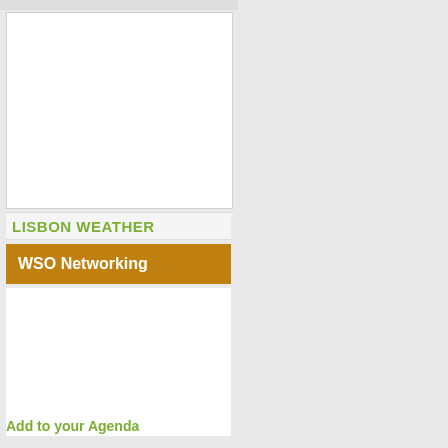[Figure (other): White content area placeholder box at top of left panel]
LISBON WEATHER
WSO Networking
Add to your Agenda